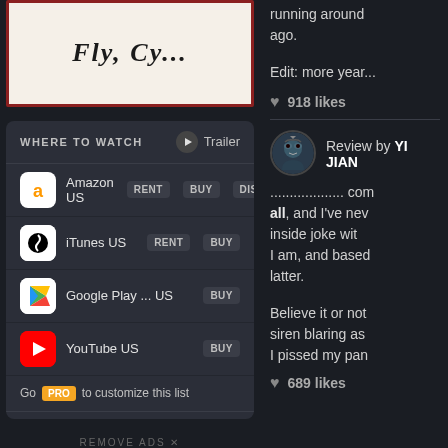[Figure (other): Partial movie poster with decorative serif italic text and red border on cream background]
WHERE TO WATCH
Trailer
Amazon US  RENT  BUY  DISC
iTunes US  RENT  BUY
Google Play ...  US  BUY
YouTube US  BUY
Go PRO to customize this list
All services...
JustWatch
REMOVE ADS ✕
running around
ago.
Edit: more year...
♥ 918 likes
Review by YI JIAN
................... com all, and I've nev inside joke with I am, and based latter.
Believe it or not siren blaring as I pissed my pan
♥ 689 likes